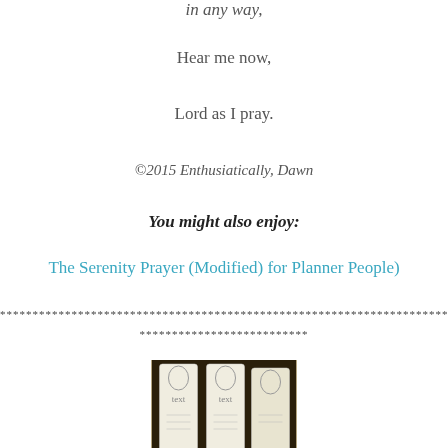in any way,
Hear me now,
Lord as I pray.
©2015 Enthusiatically, Dawn
You might also enjoy:
The Serenity Prayer (Modified) for Planner People)
********************************************************************************
**************************
[Figure (photo): Two printed bookmarks with decorative calligraphy text, photographed against a dark background]